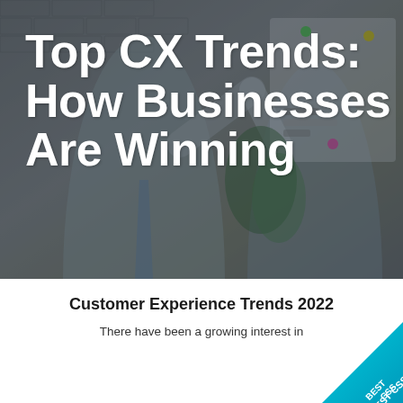[Figure (photo): Two business professionals giving a high five in an office setting with a whiteboard in the background. The image has a dark overlay.]
Top CX Trends: How Businesses Are Winning
[Figure (illustration): BEST CSS badge/ribbon in the bottom right corner, diagonal orientation, teal/cyan colored with white text]
Customer Experience Trends 2022
There have been a growing interest in